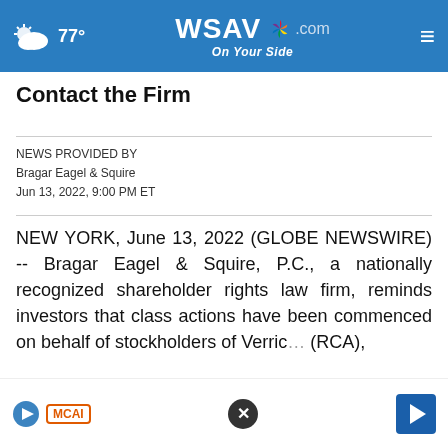WSAV.com On Your Side — 77°
Contact the Firm
NEWS PROVIDED BY
Bragar Eagel & Squire
Jun 13, 2022, 9:00 PM ET
NEW YORK, June 13, 2022 (GLOBE NEWSWIRE) -- Bragar Eagel & Squire, P.C., a nationally recognized shareholder rights law firm, reminds investors that class actions have been commenced on behalf of stockholders of Verric… (RCA),